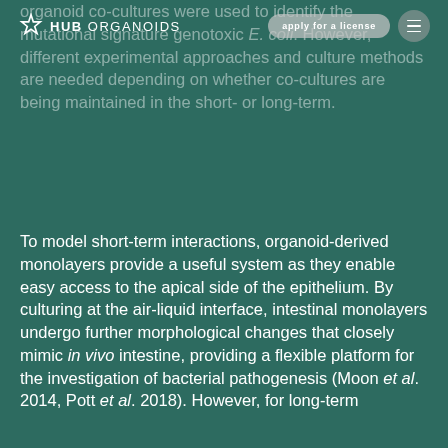HUB ORGANOIDS — apply for a license
organoid co-cultures were used to identify the mutational signature genotoxic E. coli. However, different experimental approaches and culture methods are needed depending on whether co-cultures are being maintained in the short- or long-term.
To model short-term interactions, organoid-derived monolayers provide a useful system as they enable easy access to the apical side of the epithelium. By culturing at the air-liquid interface, intestinal monolayers undergo further morphological changes that closely mimic in vivo intestine, providing a flexible platform for the investigation of bacterial pathogenesis (Moon et al. 2014, Pott et al. 2018). However, for long-term